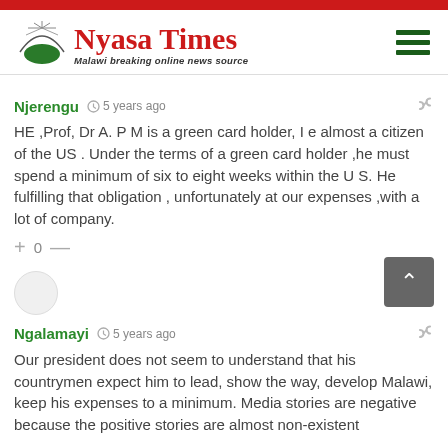Nyasa Times — Malawi breaking online news source
Njerengu  5 years ago
HE ,Prof, Dr A. P M is a green card holder, I e almost a citizen of the US . Under the terms of a green card holder ,he must spend a minimum of six to eight weeks within the U S. He fulfilling that obligation , unfortunately at our expenses ,with a lot of company.
+ 0 —
Ngalamayi  5 years ago
Our president does not seem to understand that his countrymen expect him to lead, show the way, develop Malawi, keep his expenses to a minimum. Media stories are negative because the positive stories are almost non-existent